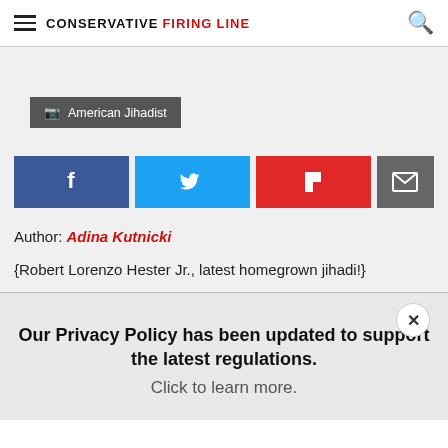CONSERVATIVE FIRING LINE
[Figure (other): Photo placeholder with camera icon badge labeled 'American Jihadist']
American Jihadist
[Figure (infographic): Social sharing buttons: Facebook, Twitter, Flipboard, Email]
Author: Adina Kutnicki
{Robert Lorenzo Hester Jr., latest homegrown jihadi!}
Our Privacy Policy has been updated to support the latest regulations. Click to learn more.